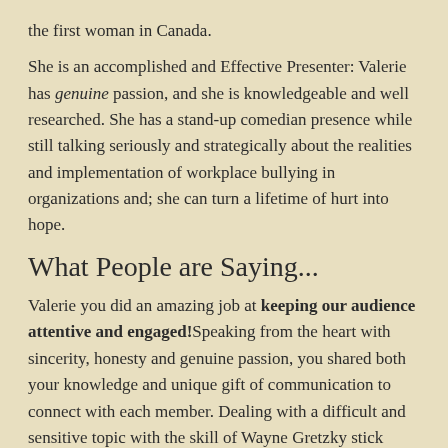the first woman in Canada.
She is an accomplished and Effective Presenter: Valerie has genuine passion, and she is knowledgeable and well researched. She has a stand-up comedian presence while still talking seriously and strategically about the realities and implementation of workplace bullying in organizations and; she can turn a lifetime of hurt into hope.
What People are Saying...
Valerie you did an amazing job at keeping our audience attentive and engaged!Speaking from the heart with sincerity, honesty and genuine passion, you shared both your knowledge and unique gift of communication to connect with each member. Dealing with a difficult and sensitive topic with the skill of Wayne Gretzky stick handling a puck, it was obvious that you had done your